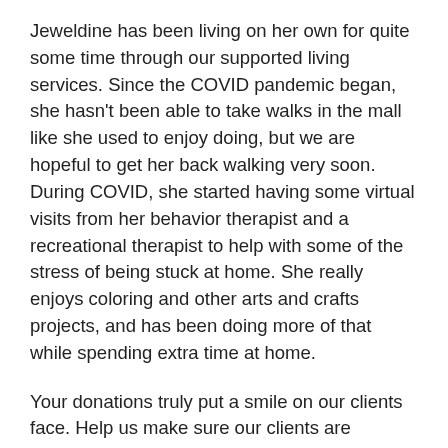Jeweldine has been living on her own for quite some time through our supported living services. Since the COVID pandemic began, she hasn't been able to take walks in the mall like she used to enjoy doing, but we are hopeful to get her back walking very soon. During COVID, she started having some virtual visits from her behavior therapist and a recreational therapist to help with some of the stress of being stuck at home. She really enjoys coloring and other arts and crafts projects, and has been doing more of that while spending extra time at home.
Your donations truly put a smile on our clients face. Help us make sure our clients are protected and covered by the things Medicaid can't by donating to our 40th Anniversary Campaign at LIFEDesigns 40th Anniversary |